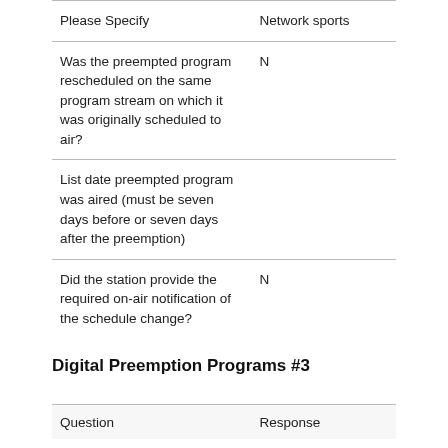| Question | Response |
| --- | --- |
| Please Specify | Network sports |
| Was the preempted program rescheduled on the same program stream on which it was originally scheduled to air? | N |
| List date preempted program was aired (must be seven days before or seven days after the preemption) |  |
| Did the station provide the required on-air notification of the schedule change? | N |
Digital Preemption Programs #3
| Question | Response |
| --- | --- |